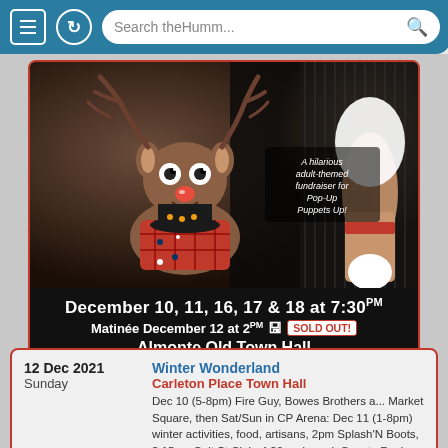Search theHumm...
[Figure (photo): Advertisement image for a puppet show fundraiser at Almonte Old Town Hall. Shows puppet characters (reindeer/Rudolph puppet and another character) against a dark background. Text overlay reads 'A hilarious adult-themed fundraiser for Pop-Up Puppets Up!' Bottom section shows: December 10, 11, 16, 17 & 18 at 7:30PM, Matinée December 12 at 2PM [SOLD OUT!], Almonte Old Town Hall, Tickets: $30]
12 Dec 2021 Sunday
Winter Wonderland
Carleton Place Town Hall
Dec 10 (5-8pm) Fire Guy, Bowes Brothers a... Market Square, then Sat/Sun in CP Arena: Dec 11 (1-8pm) winter activities, food, artisans, 2pm Splash'N Boots, 3:15pm Cait St Clair, 4:30pm Lanark County Reviva 6:30pm JaxStraw; Dec 12 (9:30am-3pm)